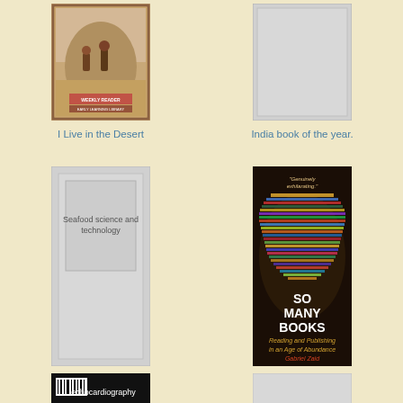[Figure (photo): Book cover: I Live in the Desert - Weekly Reader Early Learning Library, children with desert landscape]
I Live in the Desert
[Figure (photo): Book cover placeholder: India book of the year - gray placeholder]
India book of the year.
[Figure (photo): Book cover placeholder: Seafood science and technology]
Seafood science and technology
[Figure (photo): Book cover: So Many Books - Reading and Publishing in an Age of Abundance by Gabriel Zaid, showing a globe made of stacked books]
So many books
[Figure (photo): Book cover: Echocardiography - dark cover with barcode]
[Figure (photo): Book cover placeholder - gray]